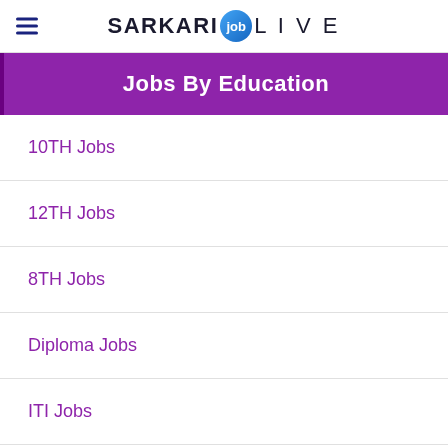SARKARI job LIVE
Jobs By Education
10TH Jobs
12TH Jobs
8TH Jobs
Diploma Jobs
ITI Jobs
B.Tech/B.E Jobs